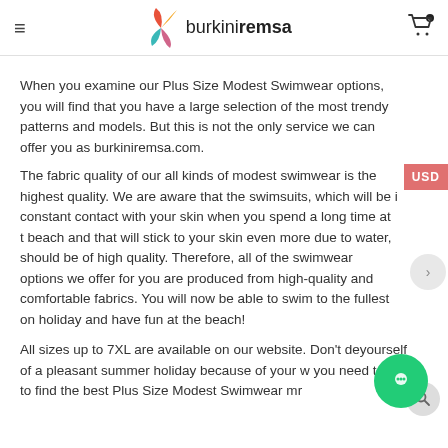burkiniremsa — navigation header with logo and cart
When you examine our Plus Size Modest Swimwear options, you will find that you have a large selection of the most trendy patterns and models. But this is not the only service we can offer you as burkiniremsa.com.
The fabric quality of our all kinds of modest swimwear is the highest quality. We are aware that the swimsuits, which will be in constant contact with your skin when you spend a long time at the beach and that will stick to your skin even more due to water, should be of high quality. Therefore, all of the swimwear options we offer for you are produced from high-quality and comfortable fabrics. You will now be able to swim to the fullest on holiday and have fun at the beach!
All sizes up to 7XL are available on our website. Don't deprive yourself of a pleasant summer holiday because of your weight. All you need to do is to find the best Plus Size Modest Swimwear model for